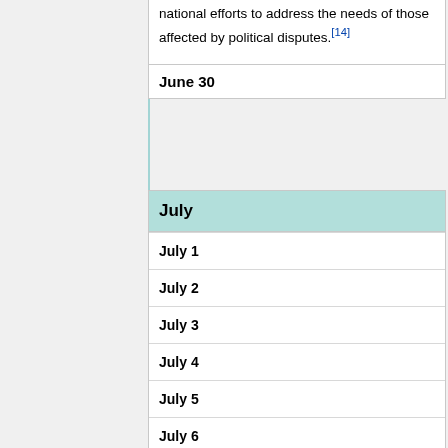national efforts to address the needs of those affected by political disputes.[14]
June 30
| July |
| --- |
| July 1 |
| July 2 |
| July 3 |
| July 4 |
| July 5 |
| July 6 |
| July 7 |